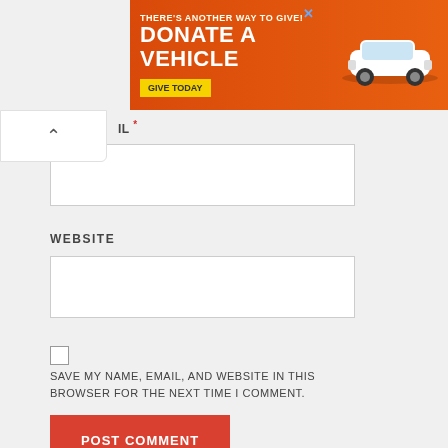[Figure (infographic): Orange advertisement banner: 'THERE'S ANOTHER WAY TO GIVE! DONATE A VEHICLE' with a yellow GIVE TODAY button and a white car illustration. Close X button in top right.]
IL *
WEBSITE
SAVE MY NAME, EMAIL, AND WEBSITE IN THIS BROWSER FOR THE NEXT TIME I COMMENT.
POST COMMENT
Search
SEARCH